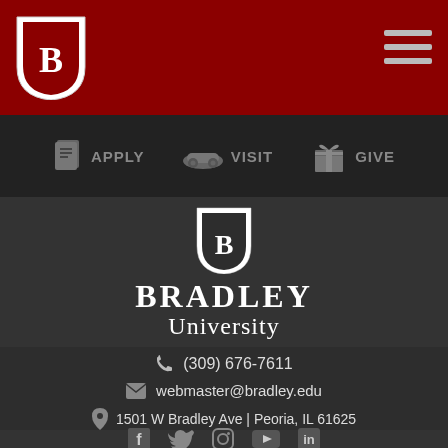[Figure (logo): Bradley University shield logo in top-left of red header bar]
[Figure (infographic): Hamburger menu icon (three horizontal lines) in top-right of red header bar]
[Figure (infographic): Navigation bar with APPLY, VISIT, GIVE icons and labels]
[Figure (logo): Bradley University shield logo and wordmark (BRADLEY University) centered in dark content area]
(309) 676-7611
webmaster@bradley.edu
1501 W Bradley Ave | Peoria, IL 61625
[Figure (infographic): Social media icons row: Facebook, Twitter, Instagram, YouTube, LinkedIn]